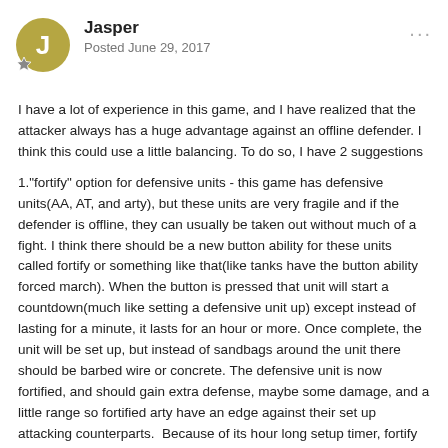Jasper
Posted June 29, 2017
I have a lot of experience in this game, and I have realized that the attacker always has a huge advantage against an offline defender. I think this could use a little balancing. To do so, I have 2 suggestions
1."fortify" option for defensive units - this game has defensive units(AA, AT, and arty), but these units are very fragile and if the defender is offline, they can usually be taken out without much of a fight. I think there should be a new button ability for these units called fortify or something like that(like tanks have the button ability forced march). When the button is pressed that unit will start a countdown(much like setting a defensive unit up) except instead of lasting for a minute, it lasts for an hour or more. Once complete, the unit will be set up, but instead of sandbags around the unit there should be barbed wire or concrete. The defensive unit is now fortified, and should gain extra defense, maybe some damage, and a little range so fortified arty have an edge against their set up attacking counterparts.  Because of its hour long setup timer, fortify would be used only on defense to make